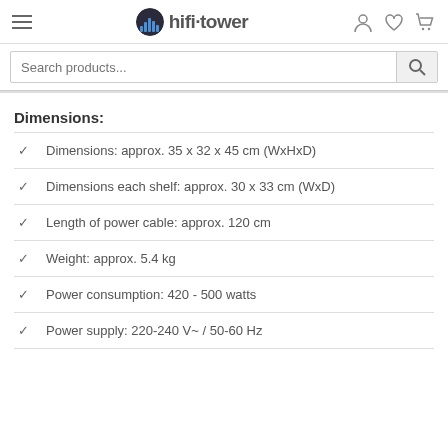hifi tower — navigation header with hamburger menu and icons
Search products...
Dimensions:
Dimensions: approx. 35 x 32 x 45 cm (WxHxD)
Dimensions each shelf: approx. 30 x 33 cm (WxD)
Length of power cable: approx. 120 cm
Weight: approx. 5.4 kg
Power consumption: 420 - 500 watts
Power supply: 220-240 V~ / 50-60 Hz